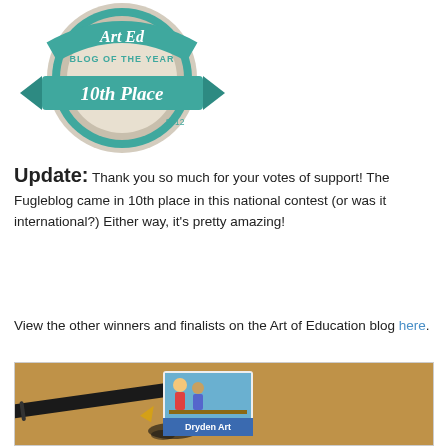[Figure (illustration): Art Ed Blog of the Year 10th Place 2012 badge/seal in teal and grey colors with ribbon style design]
Update: Thank you so much for your votes of support! The Fugleblog came in 10th place in this national contest (or was it international?) Either way, it's pretty amazing!
View the other winners and finalists on the Art of Education blog here.
[Figure (photo): A horizontal banner image showing a fountain pen with gold nib on a warm brown/tan parchment-like background, with a small illustrated logo box labeled 'Dryden Art' showing two students working at a desk]